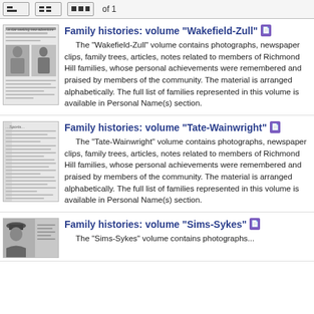of 1
Family histories: volume "Wakefield-Zull"
The "Wakefield-Zull" volume contains photographs, newspaper clips, family trees, articles, notes related to members of Richmond Hill families, whose personal achievements were remembered and praised by members of the community. The material is arranged alphabetically. The full list of families represented in this volume is available in Personal Name(s) section.
Family histories: volume "Tate-Wainwright"
The "Tate-Wainwright" volume contains photographs, newspaper clips, family trees, articles, notes related to members of Richmond Hill families, whose personal achievements were remembered and praised by members of the community. The material is arranged alphabetically. The full list of families represented in this volume is available in Personal Name(s) section.
Family histories: volume "Sims-Sykes"
The "Sims-Sykes" volume contains photographs...